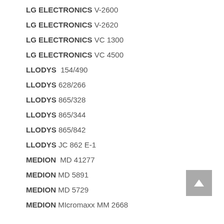LG ELECTRONICS V-2600
LG ELECTRONICS V-2620
LG ELECTRONICS VC 1300
LG ELECTRONICS VC 4500
LLODYS 154/490
LLODYS 628/266
LLODYS 865/328
LLODYS 865/344
LLODYS 865/842
LLODYS JC 862 E-1
MEDION MD 41277
MEDION MD 5891
MEDION MD 5729
MEDION MIcromaxx MM 2668